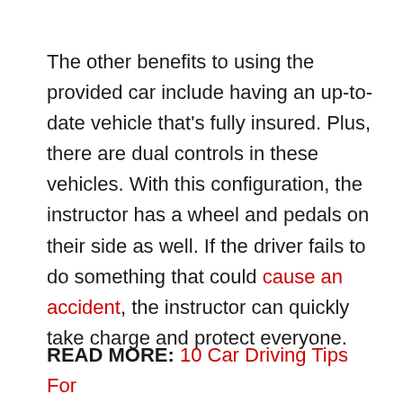The other benefits to using the provided car include having an up-to-date vehicle that's fully insured. Plus, there are dual controls in these vehicles. With this configuration, the instructor has a wheel and pedals on their side as well. If the driver fails to do something that could cause an accident, the instructor can quickly take charge and protect everyone.
READ MORE: 10 Car Driving Tips For Beginners (Driving License Tips)